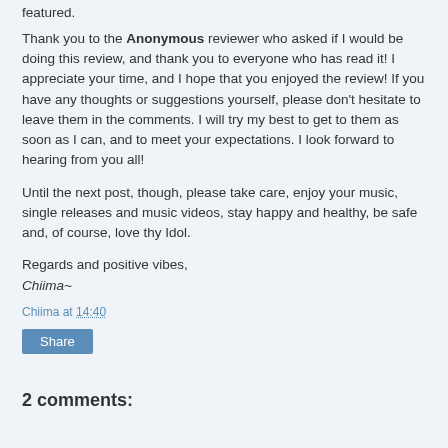featured.
Thank you to the Anonymous reviewer who asked if I would be doing this review, and thank you to everyone who has read it! I appreciate your time, and I hope that you enjoyed the review! If you have any thoughts or suggestions yourself, please don't hesitate to leave them in the comments. I will try my best to get to them as soon as I can, and to meet your expectations. I look forward to hearing from you all!
Until the next post, though, please take care, enjoy your music, single releases and music videos, stay happy and healthy, be safe and, of course, love thy Idol.
Regards and positive vibes,
Chiima~
Chiima at 14:40
Share
2 comments: